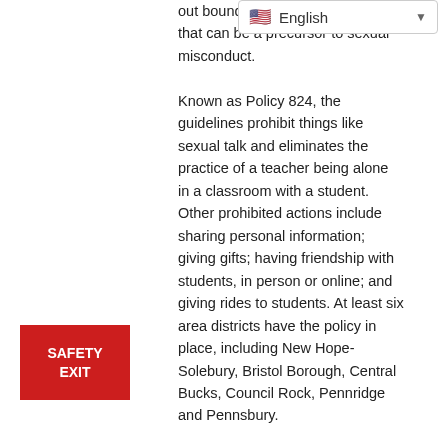[Figure (screenshot): Language selector dropdown showing English with US flag]
[Figure (other): Red SAFETY EXIT button]
out boundary- that can be a precursor to sexual misconduct. Known as Policy 824, the guidelines prohibit things like sexual talk and eliminates the practice of a teacher being alone in a classroom with a student. Other prohibited actions include sharing personal information; giving gifts; having friendship with students, in person or online; and giving rides to students. At least six area districts have the policy in place, including New Hope-Solebury, Bristol Borough, Central Bucks, Council Rock, Pennridge and Pennsbury. Policy 824 was crafted by the